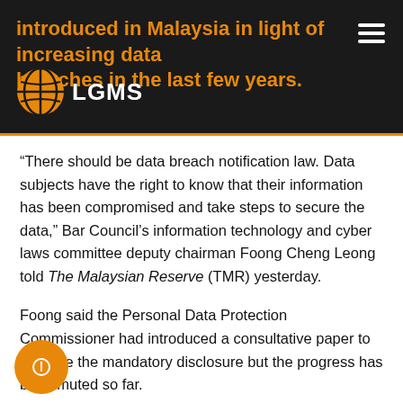introduced in Malaysia in light of increasing data breaches in the last few years.
“There should be data breach notification law. Data subjects have the right to know that their information has been compromised and take steps to secure the data,” Bar Council’s information technology and cyber laws committee deputy chairman Foong Cheng Leong told The Malaysian Reserve (TMR) yesterday.
Foong said the Personal Data Protection Commissioner had introduced a consultative paper to propose the mandatory disclosure but the progress has been muted so far.
Currently, any parties suffered a data leak in Malaysia are not obliged to notify the authorities or the victims.
In Foong’s words, the personal data protection...